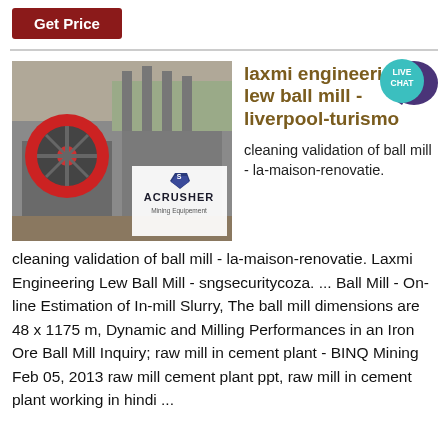Get Price
[Figure (photo): Industrial mining equipment / jaw crusher machine with ACRUSHER Mining Equipment logo overlay]
[Figure (illustration): Live Chat speech bubble icon in teal/blue with text LIVE CHAT]
laxmi engineering lew ball mill - liverpool-turismo
cleaning validation of ball mill - la-maison-renovatie. Laxmi Engineering Lew Ball Mill - sngsecuritycoza. ... Ball Mill - On-line Estimation of In-mill Slurry, The ball mill dimensions are 48 x 1175 m, Dynamic and Milling Performances in an Iron Ore Ball Mill Inquiry; raw mill in cement plant - BINQ Mining Feb 05, 2013 raw mill cement plant ppt, raw mill in cement plant working in hindi ...